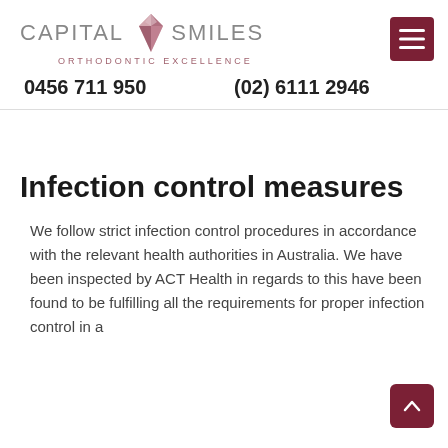[Figure (logo): Capital Smiles Orthodontic Excellence logo with diamond/gem icon]
0456 711 950    (02) 6111 2946
Infection control measures
We follow strict infection control procedures in accordance with the relevant health authorities in Australia. We have been inspected by ACT Health in regards to this have been found to be fulfilling all the requirements for proper infection control in a